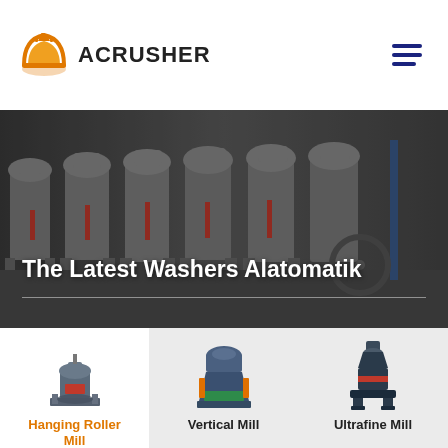ACRUSHER
[Figure (photo): Industrial grinding mill machines in a factory setting, multiple large grey machines lined up in a row]
The Latest Washers Alatomatik
[Figure (photo): Hanging Roller Mill machine - grey industrial grinding machine]
Hanging Roller Mill
[Figure (photo): Vertical Mill machine - blue/grey industrial grinding machine]
Vertical Mill
[Figure (photo): Ultrafine Mill machine - dark industrial grinding machine]
Ultrafine Mill